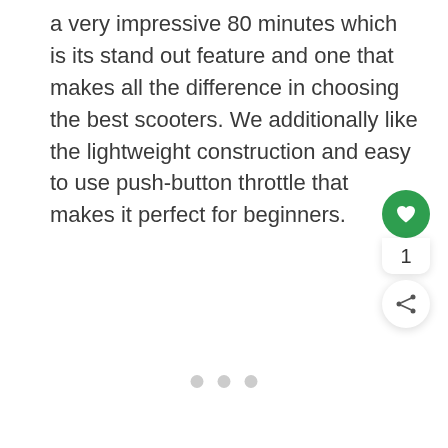a very impressive 80 minutes which is its stand out feature and one that makes all the difference in choosing the best scooters. We additionally like the lightweight construction and easy to use push-button throttle that makes it perfect for beginners.
[Figure (infographic): UI widget with a green heart/like button, a count badge showing '1', and a share button below, plus three pagination dots at the bottom center]